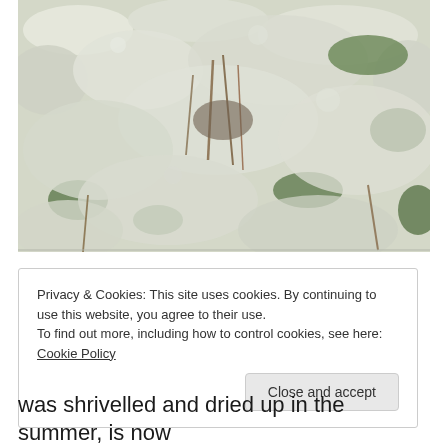[Figure (photo): Close-up photograph of light grey-white lichen or reindeer moss covering the ground, with patches of green moss and dead grass stems visible among the lichen.]
Privacy & Cookies: This site uses cookies. By continuing to use this website, you agree to their use.
To find out more, including how to control cookies, see here: Cookie Policy
was shrivelled and dried up in the summer, is now